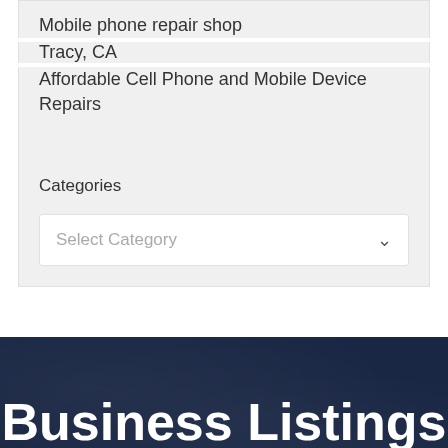Mobile phone repair shop
Tracy, CA
Affordable Cell Phone and Mobile Device Repairs
Categories
Select Category
Business Listings